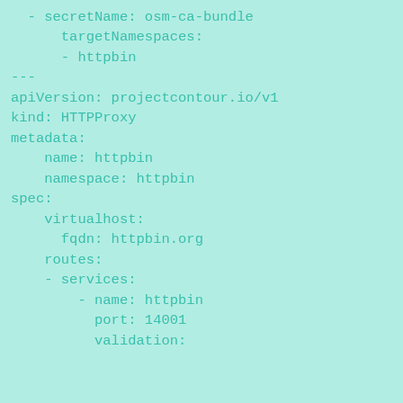- secretName: osm-ca-bundle
      targetNamespaces:
      - httpbin
---
apiVersion: projectcontour.io/v1
kind: HTTPProxy
metadata:
    name: httpbin
    namespace: httpbin
spec:
    virtualhost:
      fqdn: httpbin.org
    routes:
    - services:
        - name: httpbin
          port: 14001
          validation: